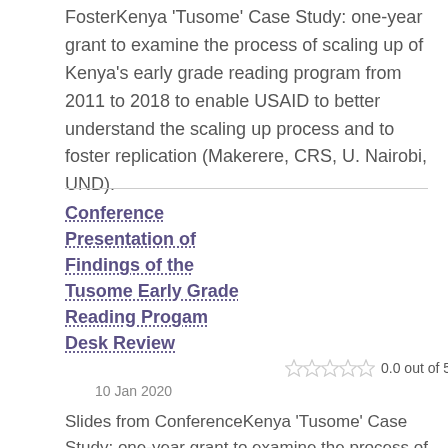FosterKenya 'Tusome' Case Study: one-year grant to examine the process of scaling up of Kenya's early grade reading program from 2011 to 2018 to enable USAID to better understand the scaling up process and to foster replication (Makerere, CRS, U. Nairobi, UND).
Conference Presentation of Findings of the Tusome Early Grade Reading Progam Desk Review
0.0 out of 5 stars
10 Jan 2020
Slides from ConferenceKenya 'Tusome' Case Study: one-year grant to examine the process of scaling up of Kenya's early grade reading program from